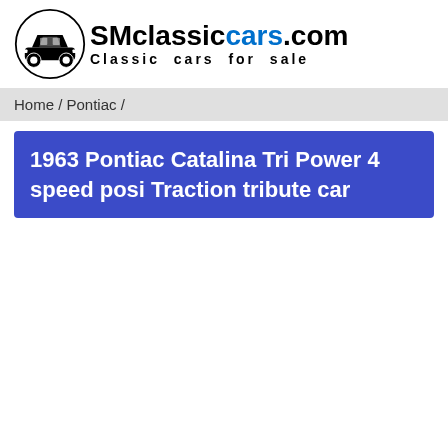[Figure (logo): SMclassiccars.com logo with classic car illustration and tagline 'Classic cars for sale']
Home / Pontiac /
1963 Pontiac Catalina Tri Power 4 speed posi Traction tribute car